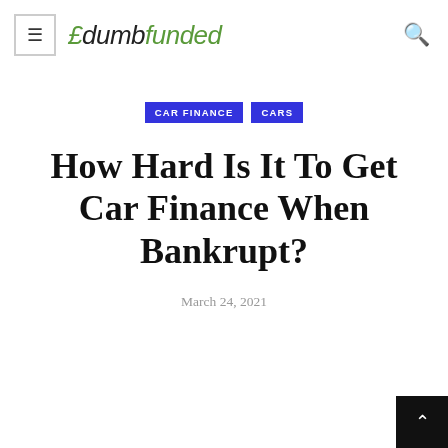£dumbfunded
CAR FINANCE  CARS
How Hard Is It To Get Car Finance When Bankrupt?
March 24, 2021